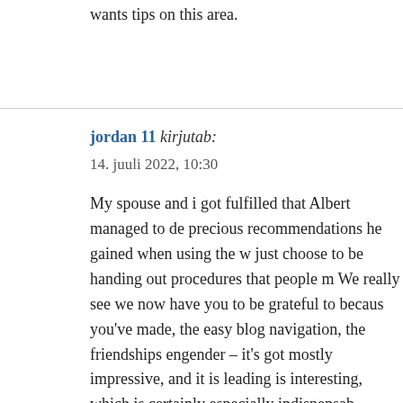wants tips on this area.
jordan 11 kirjutab:
14. juuli 2022, 10:30

My spouse and i got fulfilled that Albert managed to de precious recommendations he gained when using the w just choose to be handing out procedures that people m We really see we now have you to be grateful to becaus you've made, the easy blog navigation, the friendships engender – it's got mostly impressive, and it is leading is interesting, which is certainly especially indispensab
Jlqmby kirjutab:
14. juuli 2022, 22:05

cost chloroquine 250mg – purchase plaquenil online ch